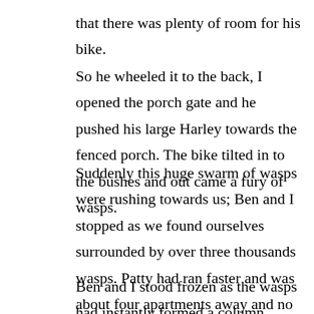that there was plenty of room for his bike.
So he wheeled it to the back, I opened the porch gate and he pushed his large Harley towards the fenced porch. The bike tilted in to the bushes and out came a fury of wasps.
Suddenly this huge swarm of wasps were rushing towards us; Ben and I stopped as we found ourselves surrounded by over three thousands wasps. Patty had ran faster and was about four apartments away and no wasps followed her.
Ben and I stood frozen as the wasps had instantly formed a column completely around us.